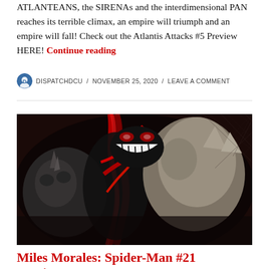ATLANTEANS, the SIRENAs and the interdimensional PAN reaches its terrible climax, an empire will triumph and an empire will fall! Check out the Atlantis Attacks #5 Preview HERE! Continue reading
DISPATCHDCU / NOVEMBER 25, 2020 / LEAVE A COMMENT
[Figure (illustration): Comic book cover art showing a dark symbiote-like villain figure with a wide grin of white teeth, red tendrils, and a horned mask, set against a dark web-patterned background]
Miles Morales: Spider-Man #21 Preview